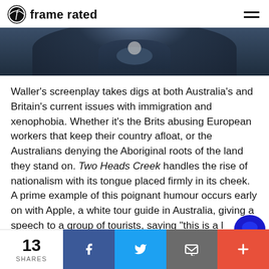frame rated
[Figure (photo): Dark photo of a person wearing a blue hoodie with a necklace, cropped to show mainly the neck and chest area against a dark background.]
Waller's screenplay takes digs at both Australia's and Britain's current issues with immigration and xenophobia. Whether it's the Brits abusing European workers that keep their country afloat, or the Australians denying the Aboriginal roots of the land they stand on. Two Heads Creek handles the rise of nationalism with its tongue placed firmly in its cheek. A prime example of this poignant humour occurs early on with Apple, a white tour guide in Australia, giving a speech to a group of tourists, saying "this is a l
13 SHARES  [Facebook] [Twitter] [Email] [+]